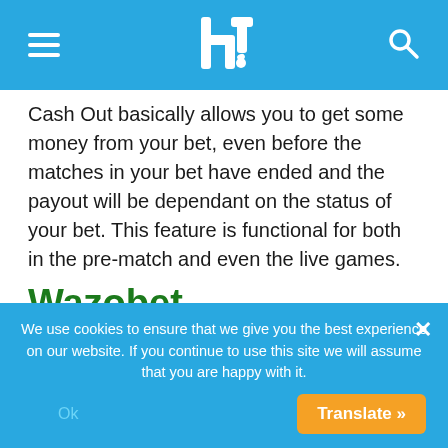Navigation bar with hamburger menu, ht logo, and search icon
Cash Out basically allows you to get some money from your bet, even before the matches in your bet have ended and the payout will be dependant on the status of your bet. This feature is functional for both in the pre-match and even the live games.
Wazobet Botswana live betting
Wazobet has an awesome live betting section with
We use cookies to ensure that we give you the best experience on our website. If you continue to use this site we will assume that you are happy with it.
Ok
Translate »